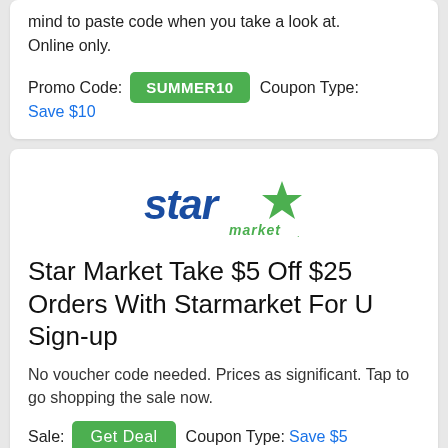mind to paste code when you take a look at. Online only.
Promo Code: SUMMER10  Coupon Type: Save $10
[Figure (logo): Star Market logo with blue italic text 'star' and a green star graphic above the word 'market']
Star Market Take $5 Off $25 Orders With Starmarket For U Sign-up
No voucher code needed. Prices as significant. Tap to go shopping the sale now.
Sale: Get Deal  Coupon Type: Save $5